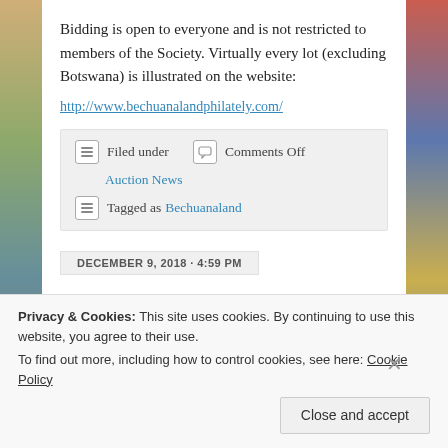Bidding is open to everyone and is not restricted to members of the Society. Virtually every lot (excluding Botswana) is illustrated on the website:
http://www.bechuanalandphilately.com/
Filed under  Comments Off  Auction News  Tagged as Bechuanaland
DECEMBER 9, 2018 · 4:59 PM
Privacy & Cookies: This site uses cookies. By continuing to use this website, you agree to their use. To find out more, including how to control cookies, see here: Cookie Policy